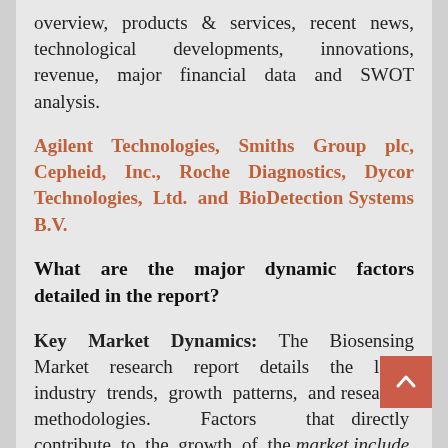overview, products & services, recent news, technological developments, innovations, revenue, major financial data and SWOT analysis.
Agilent Technologies, Smiths Group plc, Cepheid, Inc., Roche Diagnostics, Dycor Technologies, Ltd. and BioDetection Systems B.V.
What are the major dynamic factors detailed in the report?
Key Market Dynamics: The Biosensing Market research report details the latest industry trends, growth patterns, and research methodologies. Factors that directly contribute to the growth of the market include, production strategies and